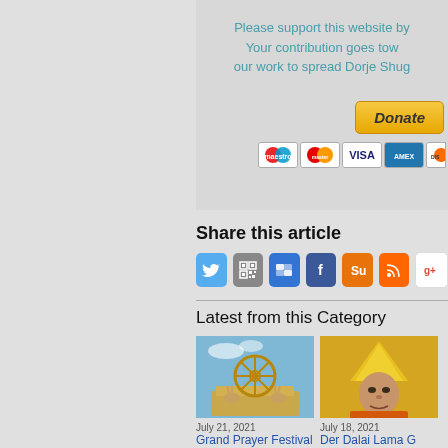Please support this website by... Your contribution goes to... our work to spread Dorje Shug...
[Figure (other): Donate button with PayPal and payment card icons (Maestro, Mastercard, Visa, Amex, Discover)]
Share this article
[Figure (other): Social media sharing icons: Twitter, QR code, Delicious, Facebook, StumbleUpon, RSS, Google+]
Latest from this Category
[Figure (photo): Buddhist dharma wheel with deer, golden temple ornament, blue sky]
July 21, 2021
Grand Prayer Festival to celebrate 25 years
[Figure (photo): Dalai Lama wearing yellow hat, contemplating]
July 18, 2021
Der Dalai Lama G... Zu Dass Er Sich...